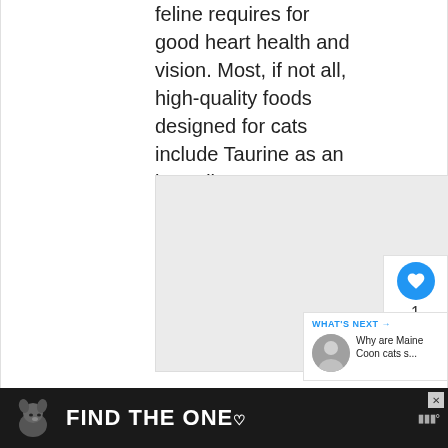feline requires for good heart health and vision. Most, if not all, high-quality foods designed for cats include Taurine as an ingredient.
[Figure (photo): Gray placeholder image box, content not visible]
[Figure (screenshot): UI element: blue circular heart/like button with count of 1, and a share button below]
[Figure (screenshot): WHAT'S NEXT panel: thumbnail image of person with cat, text 'Why are Maine Coon cats s...']
[Figure (photo): Dark advertisement banner: dog illustration on left, bold white text 'FIND THE ONE' with heart symbol, close button, brand logo on right]